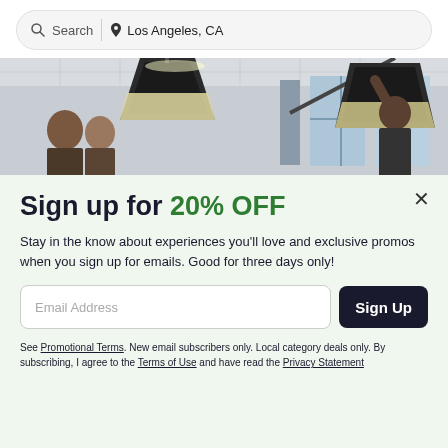Search | Los Angeles, CA
[Figure (photo): Film crew with large softbox lights set up indoors, people watching the setup near large windows]
Sign up for 20% OFF
Stay in the know about experiences you'll love and exclusive promos when you sign up for emails. Good for three days only!
Email Address [input field] Sign Up [button]
See Promotional Terms. New email subscribers only. Local category deals only. By subscribing, I agree to the Terms of Use and have read the Privacy Statement